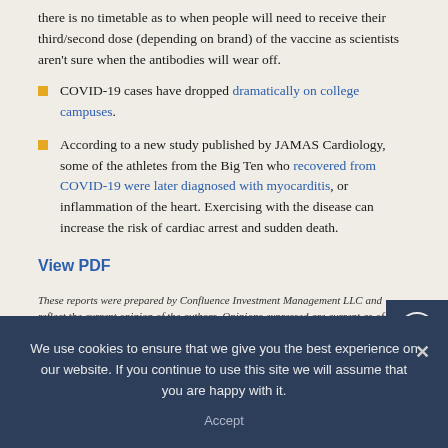there is no timetable as to when people will need to receive their third/second dose (depending on brand) of the vaccine as scientists aren't sure when the antibodies will wear off.
COVID-19 cases have dropped dramatically on college campuses.
According to a new study published by JAMAS Cardiology, some of the athletes from the Big Ten who recovered from COVID-19 were later diagnosed with myocarditis, or inflammation of the heart. Exercising with the disease can increase the risk of cardiac arrest and sudden death.
View PDF
These reports were prepared by Confluence Investment Management LLC and reflect the current opinion of the authors. Opinions expressed are current as of the date shown and are...
We use cookies to ensure that we give you the best experience on our website. If you continue to use this site we will assume that you are happy with it. Accept